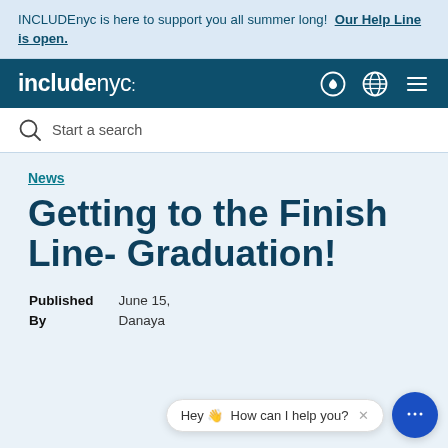INCLUDEnyc is here to support you all summer long! Our Help Line is open.
[Figure (logo): includenyc logo in white on dark teal navigation bar with heart icon, globe icon, and hamburger menu icon]
Start a search
News
Getting to the Finish Line- Graduation!
| Published | June 15, |
| By | Danaya |